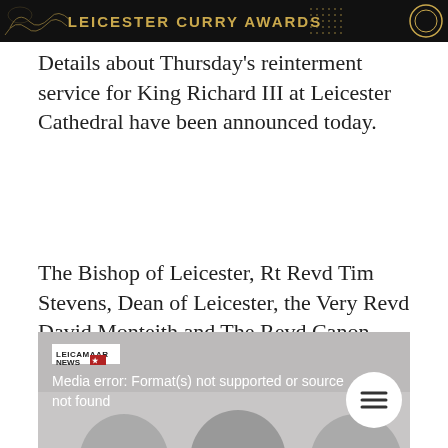[Figure (illustration): Leicester Curry Awards banner — dark background with gold text 'LEICESTER CURRY AWARDS', decorative swirls on left, circular emblem on right]
Details about Thursday's reinterment service for King Richard III at Leicester Cathedral have been announced today.
The Bishop of Leicester, Rt Revd Tim Stevens, Dean of Leicester, the Very Revd David Monteith and The Revd Canon Johannes Arens announced the details at a press conference this morning.
[Figure (screenshot): Video player showing media error: 'Media error: Format(s) not supported or source not found' with Leicamaar News logo, hamburger menu button, and partial faces of three men visible at bottom]